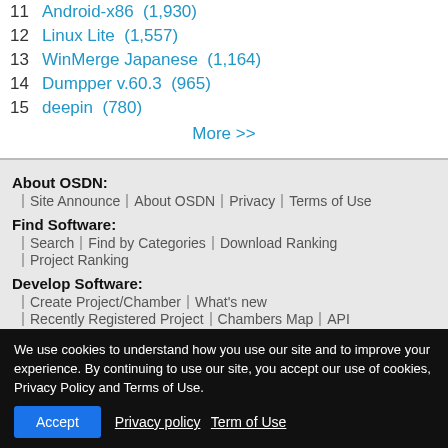11  Android-x86  (1,930)
12  Linux Lite  (1,557)
13  WinMerge Japanese  (1,164)
14  Dumpper v.60.3  (965)
15  deepin  (780)
More >>
About OSDN:
Site Announce | About OSDN | Privacy | Terms of Use
Find Software:
Search | Find by Categories | Download Ranking | Project Ranking
Develop Software:
Create Project/Chamber | What's new | Recently Registered Project | Chambers Map | API
We use cookies to understand how you use our site and to improve your experience. By continuing to use our site, you accept our use of cookies, Privacy Policy and Terms of Use.
Accept  Privacy policy  Term of Use